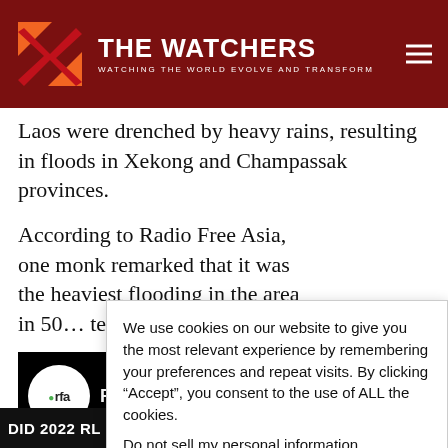THE WATCHERS — WATCHING THE WORLD EVOLVE AND TRANSFORM
Laos were drenched by heavy rains, resulting in floods in Xekong and Champassak provinces.
According to Radio Free Asia, one monk remarked that it was the heaviest flooding in the area in 50[…] temples and […]
[Figure (screenshot): RFA (Radio Free Asia) video thumbnail showing 'Floodi' text on black background with RFA logo circle]
We use cookies on our website to give you the most relevant experience by remembering your preferences and repeat visits. By clicking “Accept”, you consent to the use of ALL the cookies.
Do not sell my personal information.
DID 2022 RL CLOSE APPROACH TO EARTH ON WEDNESDAY, AU